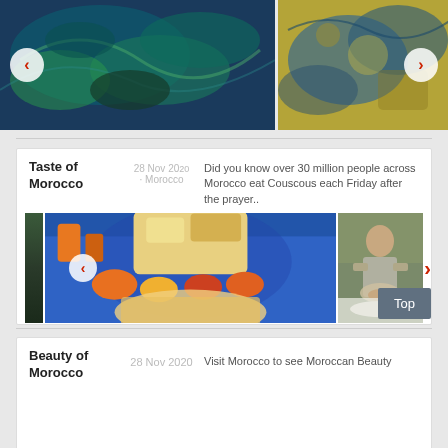[Figure (photo): Two side-by-side gallery images with navigation arrows: left shows dark blue/green abstract map or art with a back arrow, right shows yellow/blue abstract map or art with a forward arrow]
[Figure (photo): Article card for 'Taste of Morocco' with date '28 Nov 2020' and location 'Morocco', showing food images (Moroccan breakfast spread) and a man handling food, with navigation arrows and a Top button]
Taste of Morocco
28 Nov 2020 · Morocco
Did you know over 30 million people across Morocco eat Couscous each Friday after the prayer..
Beauty of Morocco
28 Nov 2020
Visit Morocco to see Moroccan Beauty